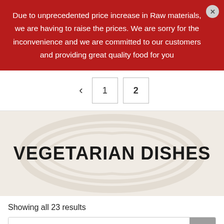Due to unprecedented price increase in Raw materials, we are having to raise the prices. We are sorry for the inconvenience and we are committed to our customers and providing great quality food for you
[Figure (other): Pagination control with back arrow, page 1 box, and page 2 box]
VEGETARIAN DISHES
Showing all 23 results
Search